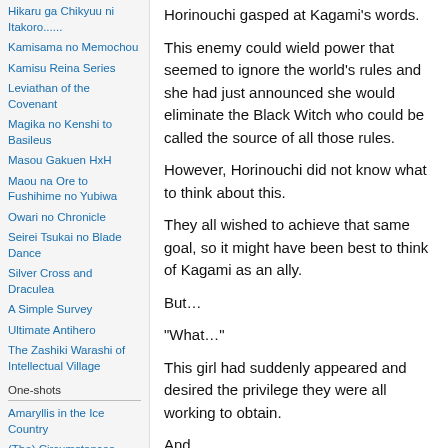Hikaru ga Chikyuu ni Itakoro......
Kamisama no Memochou
Kamisu Reina Series
Leviathan of the Covenant
Magika no Kenshi to Basileus
Masou Gakuen HxH
Maou na Ore to Fushihime no Yubiwa
Owari no Chronicle
Seirei Tsukai no Blade Dance
Silver Cross and Draculea
A Simple Survey
Ultimate Antihero
The Zashiki Warashi of Intellectual Village
One-shots
Amaryllis in the Ice Country
(The) Circumstances
Horinouchi gasped at Kagami's words.
This enemy could wield power that seemed to ignore the world's rules and she had just announced she would eliminate the Black Witch who could be called the source of all those rules.
However, Horinouchi did not know what to think about this.
They all wished to achieve that same goal, so it might have been best to think of Kagami as an ally.
But…
“What…”
This girl had suddenly appeared and desired the privilege they were all working to obtain.
And…
“What do you understand!?”